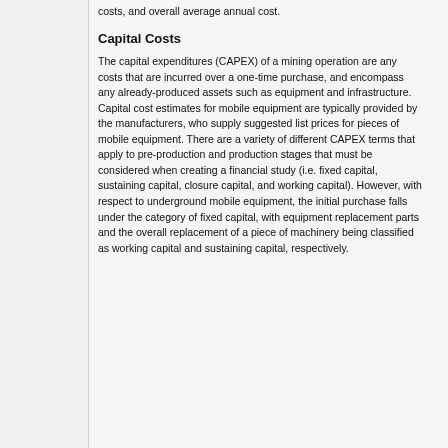costs, and overall average annual cost.
Capital Costs
The capital expenditures (CAPEX) of a mining operation are any costs that are incurred over a one-time purchase, and encompass any already-produced assets such as equipment and infrastructure. Capital cost estimates for mobile equipment are typically provided by the manufacturers, who supply suggested list prices for pieces of mobile equipment. There are a variety of different CAPEX terms that apply to pre-production and production stages that must be considered when creating a financial study (i.e. fixed capital, sustaining capital, closure capital, and working capital). However, with respect to underground mobile equipment, the initial purchase falls under the category of fixed capital, with equipment replacement parts and the overall replacement of a piece of machinery being classified as working capital and sustaining capital, respectively.